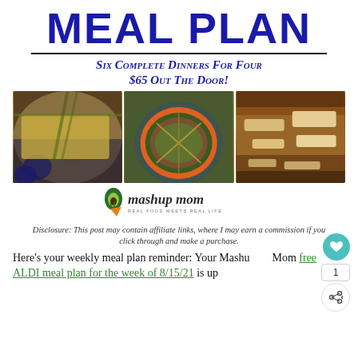MEAL PLAN
SIX COMPLETE DINNERS FOR FOUR $65 OUT THE DOOR!
[Figure (photo): Three food photos side by side: corn/egg frittata with blueberries, Asian noodle bowl, cheesy casserole]
[Figure (logo): Mashup Mom logo with avocado and carrot, tagline: REAL FOOD MEETS REAL LIFE]
Disclosure: This post may contain affiliate links, where I may earn a commission if you click through and make a purchase.
Here’s your weekly meal plan reminder: Your Mashup Mom free ALDI meal plan for the week of 8/15/21 is up